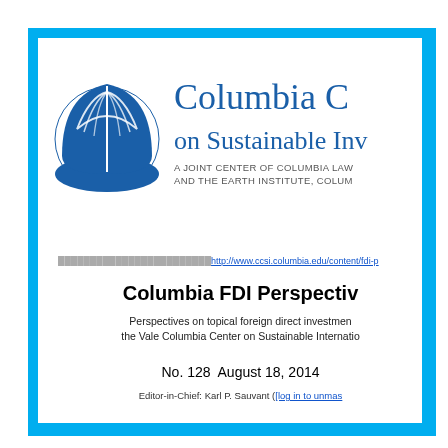[Figure (logo): Columbia Center on Sustainable Investment logo with blue tree/leaf emblem and institution name. A Joint Center of Columbia Law School and the Earth Institute, Columbia University.]
http://www.ccsi.columbia.edu/content/fdi-p...
Columbia FDI Perspectives
Perspectives on topical foreign direct investment issues by the Vale Columbia Center on Sustainable International Investment
No. 128  August 18, 2014
Editor-in-Chief: Karl P. Sauvant ([log in to unmask])